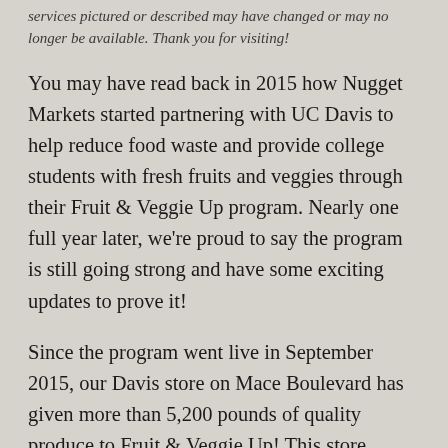services pictured or described may have changed or may no longer be available. Thank you for visiting!
You may have read back in 2015 how Nugget Markets started partnering with UC Davis to help reduce food waste and provide college students with fresh fruits and veggies through their Fruit & Veggie Up program. Nearly one full year later, we're proud to say the program is still going strong and have some exciting updates to prove it!
Since the program went live in September 2015, our Davis store on Mace Boulevard has given more than 5,200 pounds of quality produce to Fruit & Veggie Up! This store regularly donates an average of 75 pounds of produce every Tuesday, Wednesday and Friday, and has helped a total of 1,412 students get access to healthy produce they